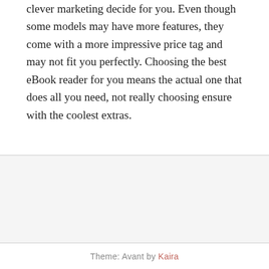clever marketing decide for you. Even though some models may have more features, they come with a more impressive price tag and may not fit you perfectly. Choosing the best eBook reader for you means the actual one that does all you need, not really choosing ensure with the coolest extras.
Theme: Avant by Kaira